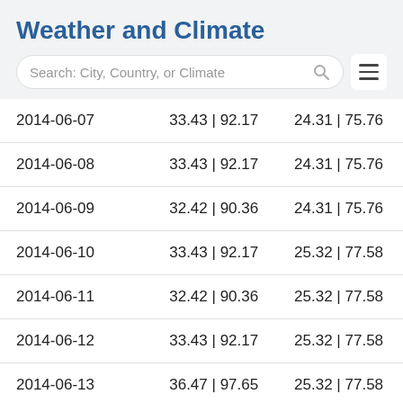Weather and Climate
| 2014-06-07 | 33.43 | 92.17 | 24.31 | 75.76 |
| 2014-06-08 | 33.43 | 92.17 | 24.31 | 75.76 |
| 2014-06-09 | 32.42 | 90.36 | 24.31 | 75.76 |
| 2014-06-10 | 33.43 | 92.17 | 25.32 | 77.58 |
| 2014-06-11 | 32.42 | 90.36 | 25.32 | 77.58 |
| 2014-06-12 | 33.43 | 92.17 | 25.32 | 77.58 |
| 2014-06-13 | 36.47 | 97.65 | 25.32 | 77.58 |